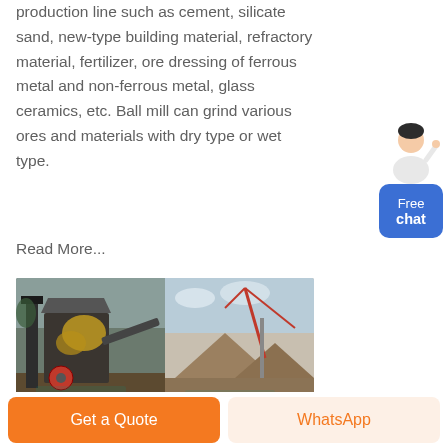production line such as cement, silicate sand, new-type building material, refractory material, fertilizer, ore dressing of ferrous metal and non-ferrous metal, glass ceramics, etc. Ball mill can grind various ores and materials with dry type or wet type.
Read More...
[Figure (photo): Two side-by-side photos of industrial mining/crushing equipment and aggregate piles at an outdoor facility site.]
Get a Quote
WhatsApp